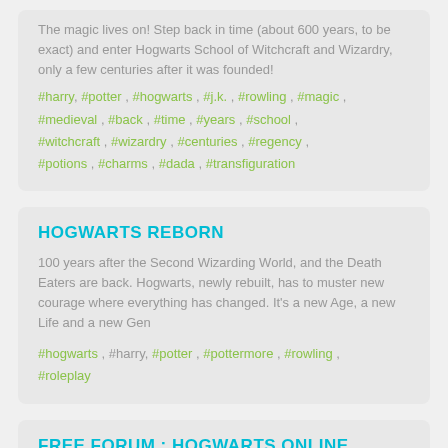The magic lives on! Step back in time (about 600 years, to be exact) and enter Hogwarts School of Witchcraft and Wizardry, only a few centuries after it was founded!
#harry, #potter , #hogwarts , #j.k. , #rowling , #magic , #medieval , #back , #time , #years , #school , #witchcraft , #wizardry , #centuries , #regency , #potions , #charms , #dada , #transfiguration
HOGWARTS REBORN
100 years after the Second Wizarding World, and the Death Eaters are back. Hogwarts, newly rebuilt, has to muster new courage where everything has changed. It's a new Age, a new Life and a new Gen
#hogwarts , #harry, #potter , #pottermore , #rowling , #roleplay
FREE FORUM : HOGWARTS ONLINE